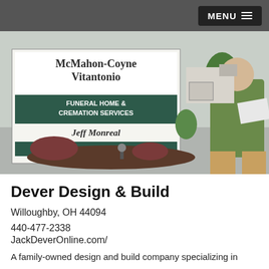MENU
[Figure (photo): A man in a green sweatshirt holding papers, standing in front of a McMahon-Coyne Vitantonio Funeral Home & Cremation Services sign listing Jeff Monreal, Funeral Services]
Dever Design & Build
Willoughby, OH 44094
440-477-2338
JackDeverOnline.com/
A family-owned design and build company specializing in